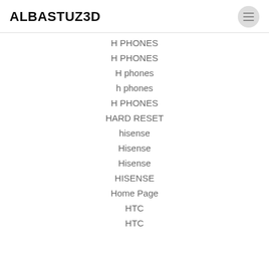ALBASTUZ3D
H PHONES
H PHONES
H phones
h phones
H PHONES
HARD RESET
hisense
Hisense
Hisense
HISENSE
Home Page
HTC
HTC